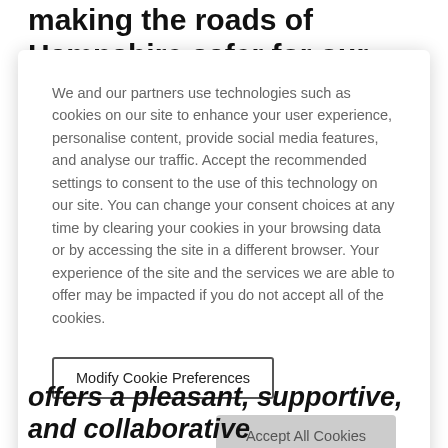making the roads of Hampshire safer for our children and other pedestrians.
We and our partners use technologies such as cookies on our site to enhance your user experience, personalise content, provide social media features, and analyse our traffic. Accept the recommended settings to consent to the use of this technology on our site. You can change your consent choices at any time by clearing your cookies in your browsing data or by accessing the site in a different browser. Your experience of the site and the services we are able to offer may be impacted if you do not accept all of the cookies.
Modify Cookie Preferences
Accept All Cookies
offers a pleasant, supportive, and collaborative